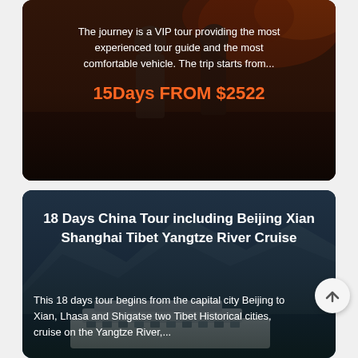[Figure (photo): Card with dark background showing two people walking (tour group photo), overlaid with text about a VIP tour. Title partially visible at top: Xian, Yunnan, Guilin and Shanghai.]
The journey is a VIP tour providing the most experienced tour guide and the most comfortable vehicle. The trip starts from...
15Days FROM $2522
[Figure (photo): Card with dark blue/mountain background showing a cruise ship, overlaid with text about an 18-day China tour.]
18 Days China Tour including Beijing Xian Shanghai Tibet Yangtze River Cruise
This 18 days tour begins from the capital city Beijing to Xian, Lhasa and Shigatse two Tibet Historical cities, cruise on the Yangtze River,...